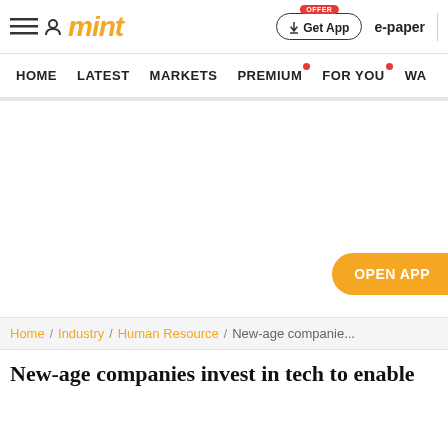mint | Get App | e-paper
HOME / LATEST / MARKETS / PREMIUM / FOR YOU / WA
[Figure (other): Advertisement / empty white area with OPEN APP button in orange on the right side]
Home / Industry / Human Resource / New-age companie...
New-age companies invest in tech to enable